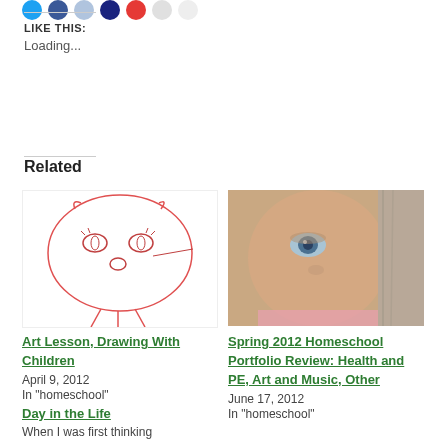LIKE THIS:
Loading...
Related
[Figure (illustration): Child's drawing of a cat face with red lines on white background]
[Figure (photo): Close-up photo of a young girl's face with blue eyes, peeking from behind something]
Art Lesson, Drawing With Children
April 9, 2012
In "homeschool"
Spring 2012 Homeschool Portfolio Review: Health and PE, Art and Music, Other
June 17, 2012
In "homeschool"
Day in the Life
When I was first thinking